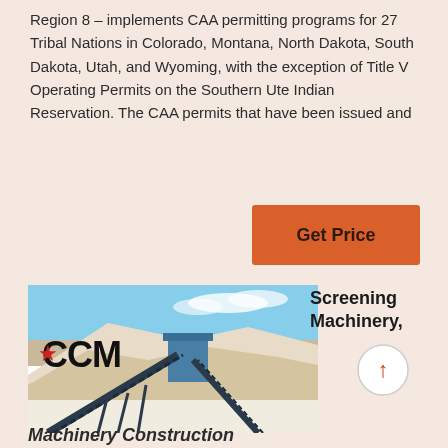Region 8 – implements CAA permitting programs for 27 Tribal Nations in Colorado, Montana, North Dakota, South Dakota, Utah, and Wyoming, with the exception of Title V Operating Permits on the Southern Ute Indian Reservation. The CAA permits that have been issued and
[Figure (other): Orange 'Get Price' button]
[Figure (photo): Photo of CCM screening machinery at an industrial/mining site with conveyor belts, blue steel structures, and white aggregate piles under a blue sky.]
Screening Machinery,
Machinery Construction